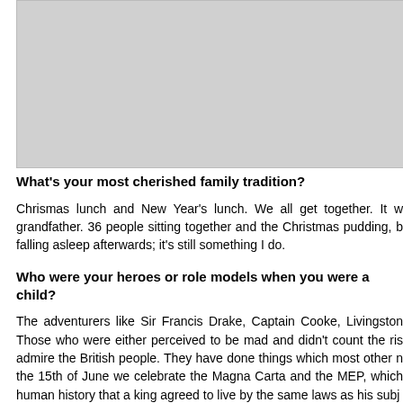[Figure (photo): Gray placeholder image area at the top of the page]
What's your most cherished family tradition?
Chrismas lunch and New Year's lunch. We all get together. It w... grandfather. 36 people sitting together and the Christmas pudding, b... falling asleep afterwards; it's still something I do.
Who were your heroes or role models when you were a child?
The adventurers like Sir Francis Drake, Captain Cooke, Livingston... Those who were either perceived to be mad and didn't count the ris... admire the British people. They have done things which most other n... the 15th of June we celebrate the Magna Carta and the MEP, which... human history that a king agreed to live by the same laws as his subj...